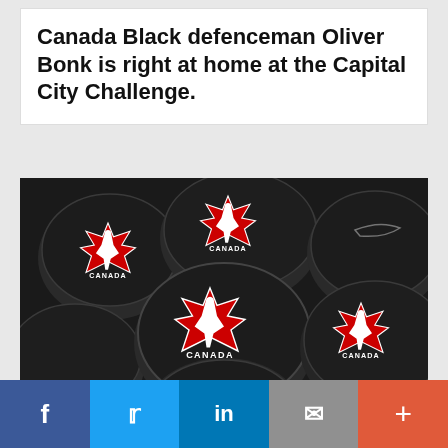Canada Black defenceman Oliver Bonk is right at home at the Capital City Challenge.
[Figure (photo): Multiple black hockey pucks with the Team Canada logo (red maple leaf with hockey player silhouette and 'CANADA' text) scattered together, viewed from above.]
[Figure (infographic): Social media share bar with five buttons: Facebook (blue), Twitter (light blue), LinkedIn (dark blue), Email (grey), More/Plus (orange-red).]